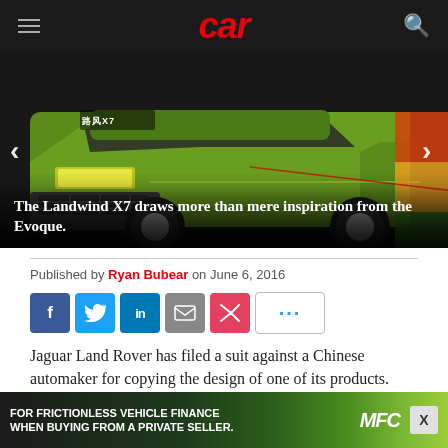car
[Figure (photo): Front view of the Landwind X7 green SUV in motion with Chinese badge visible, set against a dark studio background. Navigation arrows on left and right sides.]
The Landwind X7 draws more than mere inspiration from the Evoque.
Published by Ryan Bubear on June 6, 2016
[Figure (infographic): Social sharing buttons: Facebook, Twitter, LinkedIn, Email, Kik, and More (...)]
Jaguar Land Rover has filed a suit against a Chinese automaker for copying the design of one of its products.
[Figure (infographic): Ad banner: FOR FRICTIONLESS VEHICLE FINANCE WHEN BUYING FROM A PRIVATE SELLER. NFC logo on right.]